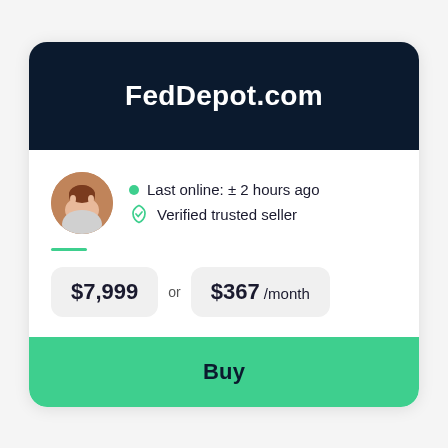FedDepot.com
Last online: ± 2 hours ago
Verified trusted seller
$7,999 or $367 /month
Buy